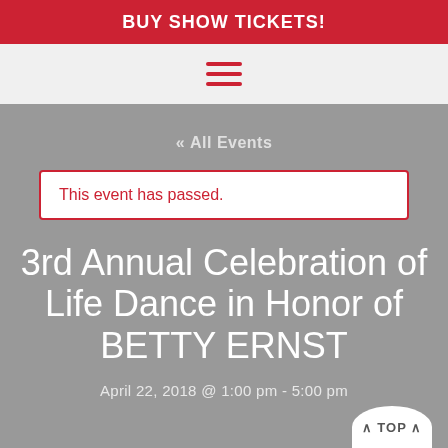BUY SHOW TICKETS!
[Figure (other): Hamburger menu icon with three red horizontal bars]
« All Events
This event has passed.
3rd Annual Celebration of Life Dance in Honor of BETTY ERNST
April 22, 2018 @ 1:00 pm - 5:00 pm